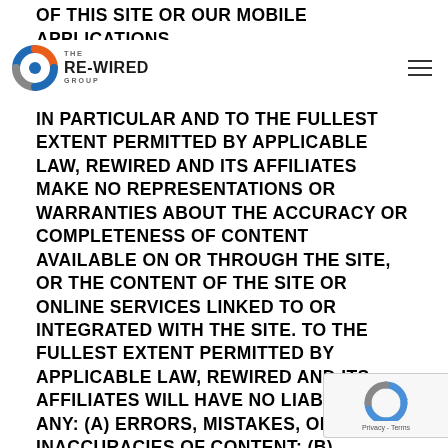OF THIS SITE OR OUR MOBILE APPLICATIONS.
THE RE-WIRED GROUP [logo]
IN PARTICULAR AND TO THE FULLEST EXTENT PERMITTED BY APPLICABLE LAW, REWIRED AND ITS AFFILIATES MAKE NO REPRESENTATIONS OR WARRANTIES ABOUT THE ACCURACY OR COMPLETENESS OF CONTENT AVAILABLE ON OR THROUGH THE SITE, OR THE CONTENT OF THE SITE OR ONLINE SERVICES LINKED TO OR INTEGRATED WITH THE SITE. TO THE FULLEST EXTENT PERMITTED BY APPLICABLE LAW, REWIRED AND ITS AFFILIATES WILL HAVE NO LIABILITY FOR ANY: (a) ERRORS, MISTAKES, OR INACCURACIES OF CONTENT; (b) PERSONAL INJURY OR PROPERTY DAMAGE RESULTING FROM YOUR ACCESS TO OR USE OF THE SITE; (c) ANY UNAUTHORIZED ACCESS TO OR USE OF OUR SE... OR OF ANY PERSONAL INFORMATION OR USER... (d) ANY INTERRUPTION OF TRANSMISSION TO OR